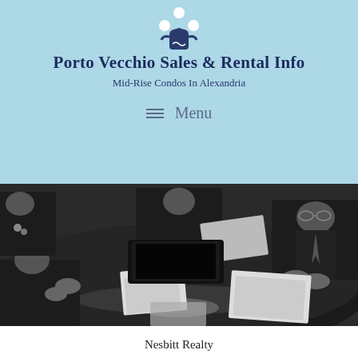Porto Vecchio Sales & Rental Info
Mid-Rise Condos In Alexandria
Menu
[Figure (photo): Black and white photo of people sitting around a conference table with documents]
Nesbitt Realty